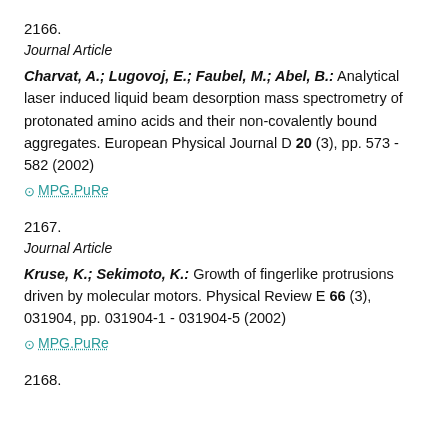2166.
Journal Article
Charvat, A.; Lugovoj, E.; Faubel, M.; Abel, B.: Analytical laser induced liquid beam desorption mass spectrometry of protonated amino acids and their non-covalently bound aggregates. European Physical Journal D 20 (3), pp. 573 - 582 (2002)
⊙ MPG.PuRe
2167.
Journal Article
Kruse, K.; Sekimoto, K.: Growth of fingerlike protrusions driven by molecular motors. Physical Review E 66 (3), 031904, pp. 031904-1 - 031904-5 (2002)
⊙ MPG.PuRe
2168.